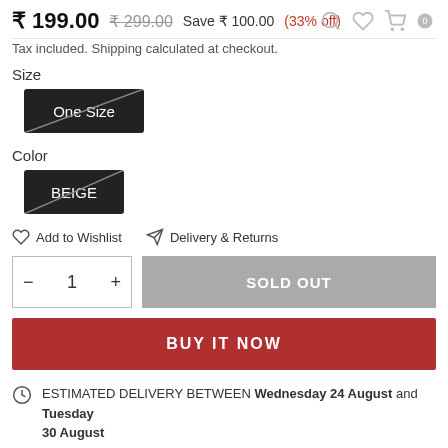₹199.00  ₹299.00  Save ₹100.00 (33% off)
Tax included. Shipping calculated at checkout.
Size
One Size
Color
BEIGE
Add to Wishlist   Delivery & Returns
- 1 +   SOLD OUT
BUY IT NOW
ESTIMATED DELIVERY BETWEEN Wednesday 24 August and Tuesday 30 August